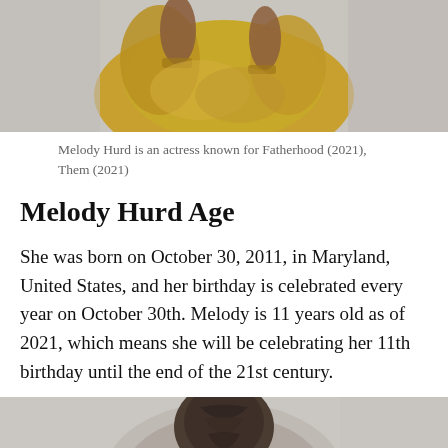[Figure (photo): Photo of Melody Hurd wearing a yellow/mustard dress, upper body visible, arms crossed or raised, against a light gray background.]
Melody Hurd is an actress known for Fatherhood (2021), Them (2021)
Melody Hurd Age
She was born on October 30, 2011, in Maryland, United States, and her birthday is celebrated every year on October 30th. Melody is 11 years old as of 2021, which means she will be celebrating her 11th birthday until the end of the 21st century.
[Figure (photo): Photo of Melody Hurd from behind or side, showing braided/twisted hair, against a light gray background.]